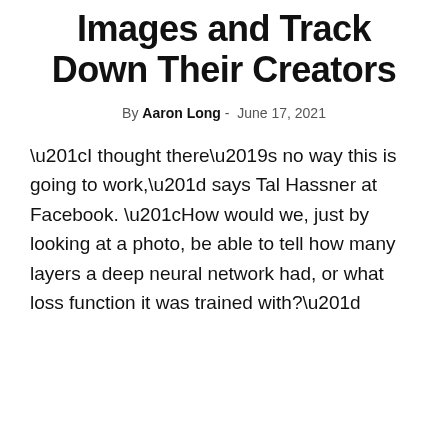Images and Track Down Their Creators
By Aaron Long - June 17, 2021
“I thought there’s no way this is going to work,” says Tal Hassner at Facebook. “How would we, just by looking at a photo, be able to tell how many layers a deep neural network had, or what loss function it was trained with?”